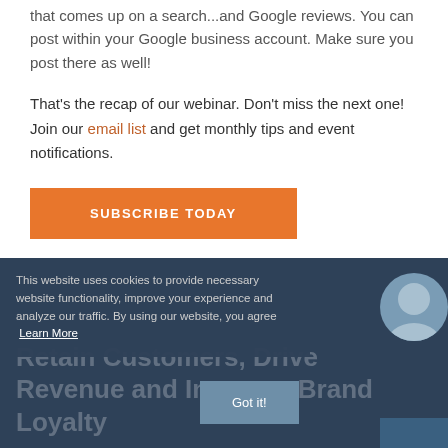that comes up on a search...and Google reviews. You can post within your Google business account. Make sure you post there as well!
That's the recap of our webinar. Don't miss the next one! Join our email list and get monthly tips and event notifications.
SUBSCRIBE TODAY
This website uses cookies to provide necessary website functionality, improve your experience and analyze our traffic. By using our website, you agree  Learn More
Retain Customers, Drive Revenue and Increase Brand Loyalty
Got it!